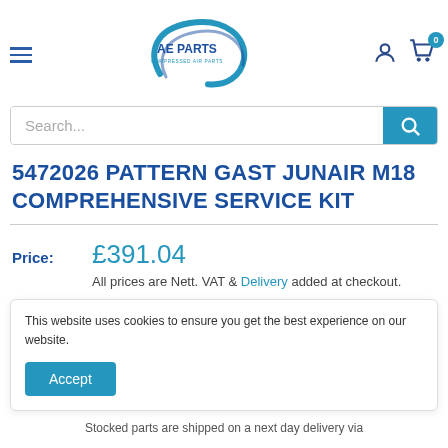[Figure (logo): AE Parts - Compressed Air Parts logo with circular swoosh design in blue]
5472026 PATTERN GAST JUNAIR M18 COMPREHENSIVE SERVICE KIT
Price: £391.04
All prices are Nett. VAT & Delivery added at checkout.
This website uses cookies to ensure you get the best experience on our website.
Stocked parts are shipped on a next day delivery via